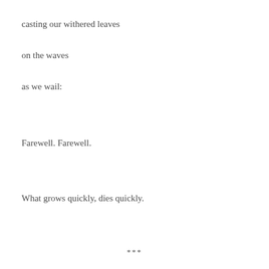casting our withered leaves
on the waves
as we wail:
Farewell. Farewell.
What grows quickly, dies quickly.
***